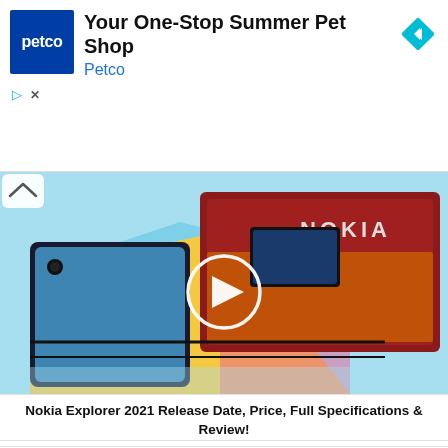[Figure (screenshot): Petco advertisement banner with blue square logo showing 'petco' in white text, headline 'Your One-Stop Summer Pet Shop', subheading 'Petco' in blue, and a teal diamond navigation icon on the right. Small play and close icons in bottom-left.]
[Figure (photo): 3D rendered Nokia smartphone and tablet on colorful geometric background (light blue, yellow, pink). A Nokia branded dark red/maroon tablet is shown alongside a black phone. A white circular play button overlay is centered on the image.]
Nokia Explorer 2021 Release Date, Price, Full Specifications & Review!
Related Articles